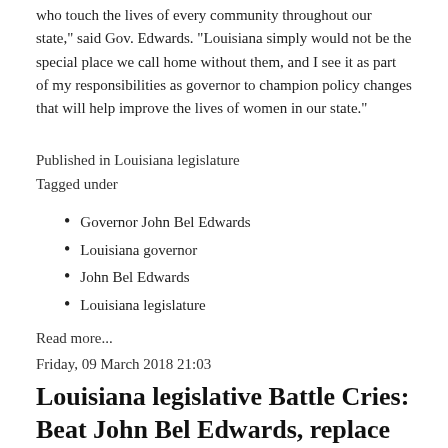who touch the lives of every community throughout our state," said Gov. Edwards. "Louisiana simply would not be the special place we call home without them, and I see it as part of my responsibilities as governor to champion policy changes that will help improve the lives of women in our state."
Published in Louisiana legislature
Tagged under
Governor John Bel Edwards
Louisiana governor
John Bel Edwards
Louisiana legislature
Read more...
Friday, 09 March 2018 21:03
Louisiana legislative Battle Cries: Beat John Bel Edwards, replace House Speaker Taylor Barras